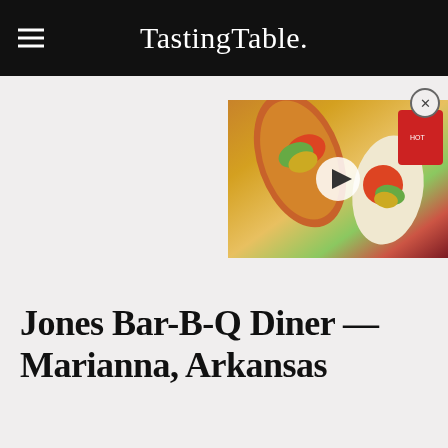Tasting Table.
[Figure (screenshot): Video thumbnail showing tacos and burritos with a play button overlay, with a close (X) button in the top-right corner]
Jones Bar-B-Q Diner — Marianna, Arkansas